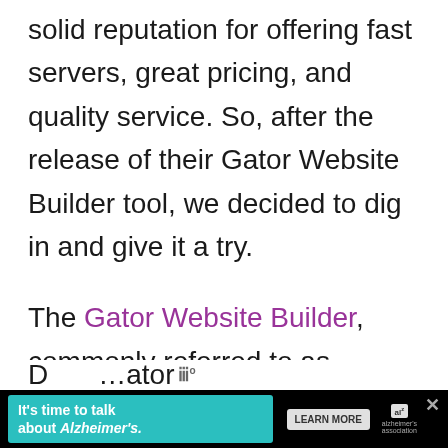solid reputation for offering fast servers, great pricing, and quality service. So, after the release of their Gator Website Builder tool, we decided to dig in and give it a try.
The Gator Website Builder, commonly referred to as “Gator”, is a simple and easy-to-use website builder with drag and drop functionality. Its focus is to provide low pricing and a pleasantly simple and intuitive user experience.
[Figure (other): Advertisement banner: teal background with text 'It’s time to talk about Alzheimer’s.' with a Learn More button and Alzheimer's Association logo, on a black background. A close (X) button appears at top right.]